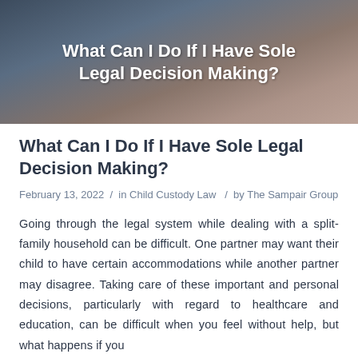[Figure (photo): Hero image with dark blurred background showing hands, overlaid with white bold text: 'What Can I Do If I Have Sole Legal Decision Making?']
What Can I Do If I Have Sole Legal Decision Making?
February 13, 2022 / in Child Custody Law / by The Sampair Group
Going through the legal system while dealing with a split-family household can be difficult. One partner may want their child to have certain accommodations while another partner may disagree. Taking care of these important and personal decisions, particularly with regard to healthcare and education, can be difficult when you feel without help, but what happens if you